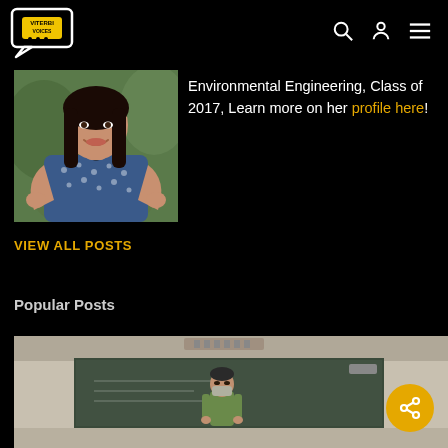Viterbi Voices
[Figure (photo): Portrait photo of a young woman with long dark hair, wearing a patterned blue top, smiling outdoors with green foliage background]
Environmental Engineering, Class of 2017, Learn more on her profile here!
VIEW ALL POSTS
Popular Posts
[Figure (photo): Interior photo of a classroom with a person standing at the front near a chalkboard, wearing a green shirt and mask]